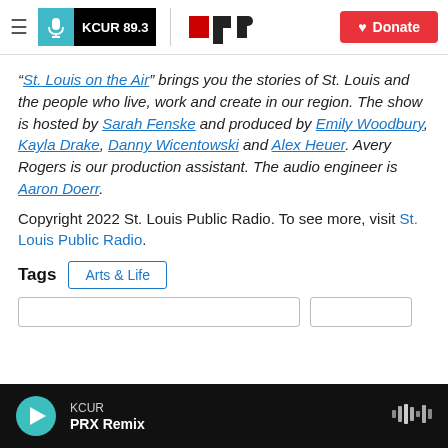KCUR 89.3 | npr | Donate
“St. Louis on the Air” brings you the stories of St. Louis and the people who live, work and create in our region. The show is hosted by Sarah Fenske and produced by Emily Woodbury, Kayla Drake, Danny Wicentowski and Alex Heuer. Avery Rogers is our production assistant. The audio engineer is Aaron Doerr.
Copyright 2022 St. Louis Public Radio. To see more, visit St. Louis Public Radio.
Tags  Arts & Life
KCUR  PRX Remix